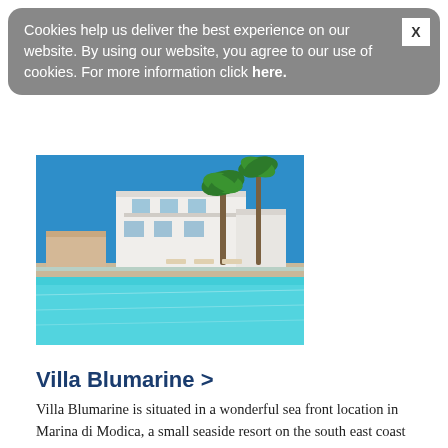Cookies help us deliver the best experience on our website. By using our website, you agree to our use of cookies. For more information click here.
[Figure (photo): A white Mediterranean villa with palm trees and a turquoise swimming pool in the foreground, under a bright blue sky.]
Villa Blumarine >
Villa Blumarine is situated in a wonderful sea front location in Marina di Modica, a small seaside resort on the south east coast of Sicily. This stunning 5 bedroom villa has stylish accommodation, private swimming pool, indoor wellness area with sauna and jacuzzi and